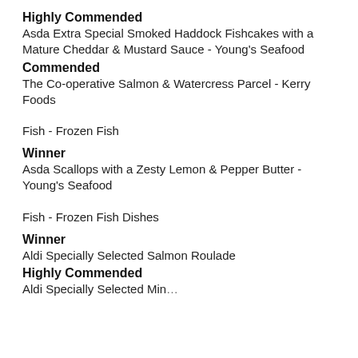Highly Commended
Asda Extra Special Smoked Haddock Fishcakes with a Mature Cheddar & Mustard Sauce - Young's Seafood
Commended
The Co-operative Salmon & Watercress Parcel - Kerry Foods
Fish - Frozen Fish
Winner
Asda Scallops with a Zesty Lemon & Pepper Butter - Young's Seafood
Fish - Frozen Fish Dishes
Winner
Aldi Specially Selected Salmon Roulade
Highly Commended
Aldi Specially Selected Minted Salmon Wellington...